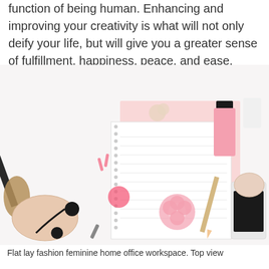function of being human. Enhancing and improving your creativity is what will not only deify your life, but will give you a greater sense of fulfillment, happiness, peace, and ease.
[Figure (photo): Flat lay fashion feminine home office workspace viewed from top. Items include makeup brushes, pressed powder compact, earbuds, paper clips, flowers, a spiral notebook, pencil, nail polish, smartphone, and other accessories arranged on a white background with a pink notebook.]
Flat lay fashion feminine home office workspace. Top view